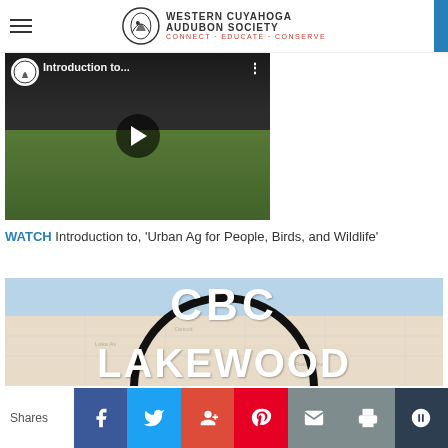Western Cuyahoga Audubon Society — CONNECT · EDUCATE · CONSERVE
[Figure (screenshot): Video thumbnail showing a person in a garden with text 'Introduction to...' and a play button overlay]
WATCH Introduction to, 'Urban Ag for People, Birds, and Wildlife'
[Figure (photo): CBC Lakewood image showing a map of Lakewood area with large white text overlay reading 'CBC LAKEWOOD']
Shares — social sharing buttons: Facebook, Twitter, Google+, Pinterest, Email, Print, More